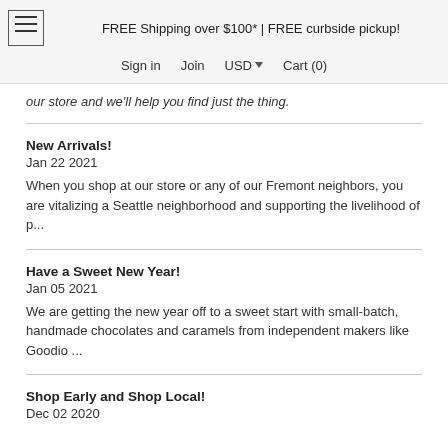FREE Shipping over $100* | FREE curbside pickup! Sign in Join USD Cart (0)
our store and we'll help you find just the thing.
New Arrivals!
Jan 22 2021
When you shop at our store or any of our Fremont neighbors, you are vitalizing a Seattle neighborhood and supporting the livelihood of p...
Have a Sweet New Year!
Jan 05 2021
We are getting the new year off to a sweet start with small-batch, handmade chocolates and caramels from independent makers like Goodio ...
Shop Early and Shop Local!
Dec 02 2020